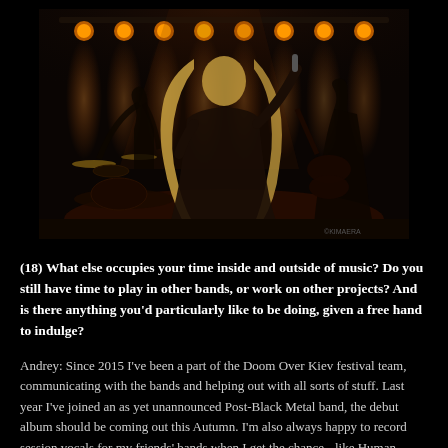[Figure (photo): Concert photo of a metal band performing on stage with dramatic overhead stage lighting (multiple warm orange/amber spotlights in a row), heavy fog/smoke, central figure with long blonde hair singing into a microphone with arm raised, drummer visible on left, guitarist on right, dark atmospheric stage setting.]
(18) What else occupies your time inside and outside of music? Do you still have time to play in other bands, or work on other projects? And is there anything you'd particularly like to be doing, given a free hand to indulge?
Andrey: Since 2015 I've been a part of the Doom Over Kiev festival team, communicating with the bands and helping out with all sorts of stuff. Last year I've joined an as yet unannounced Post-Black Metal band, the debut album should be coming out this Autumn. I'm also always happy to record session vocals for my friends' bands when I get the chance - like Human